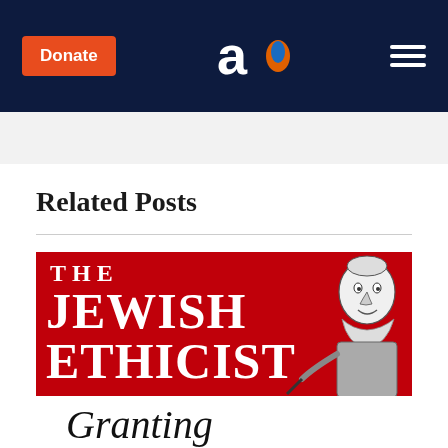Donate | [Aish logo] | [Menu]
Related Posts
[Figure (illustration): The Jewish Ethicist book/column cover image with red background, large white serif text reading 'THE JEWISH ETHICIST', a cartoon illustration of a rabbi/elderly man writing, and italic text 'Granting' at bottom]